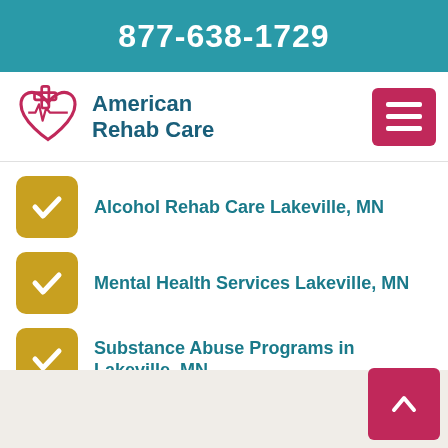877-638-1729
[Figure (logo): American Rehab Care logo with heart and cross icon in pink/crimson]
Alcohol Rehab Care Lakeville, MN
Mental Health Services Lakeville, MN
Substance Abuse Programs in Lakeville, MN